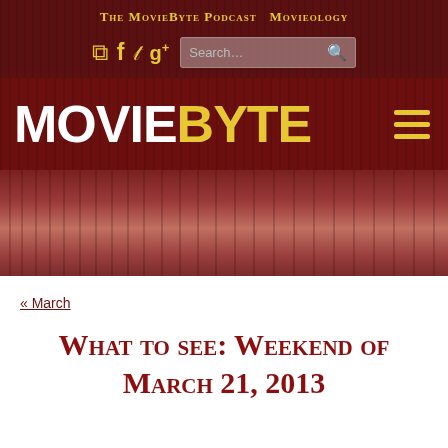The MovieByte Podcast Movieology
[Figure (screenshot): Social media icons (RSS, Facebook, Twitter, Google+) and a search bar on dark maroon background]
[Figure (logo): MOVIEBYTE logo in white and yellow on dark maroon background with hamburger menu icon]
[Figure (photo): Movie theater curtain banner image in maroon tones]
« March
What to see: Weekend of March 21, 2013